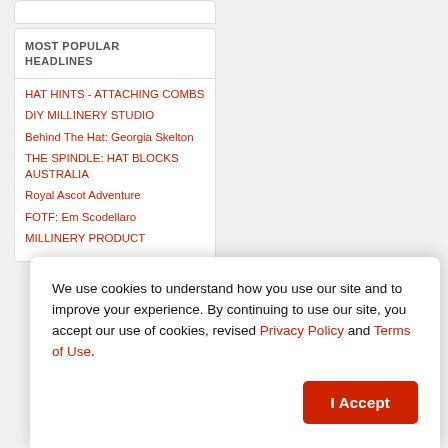MOST POPULAR HEADLINES
HAT HINTS - ATTACHING COMBS
DIY MILLINERY STUDIO
Behind The Hat: Georgia Skelton
THE SPINDLE: HAT BLOCKS AUSTRALIA
Royal Ascot Adventure
FOTF: Em Scodellaro
MILLINERY PRODUCT
We use cookies to understand how you use our site and to improve your experience. By continuing to use our site, you accept our use of cookies, revised Privacy Policy and Terms of Use.